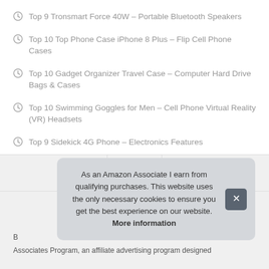Top 9 Tronsmart Force 40W – Portable Bluetooth Speakers
Top 10 Top Phone Case iPhone 8 Plus – Flip Cell Phone Cases
Top 10 Gadget Organizer Travel Case – Computer Hard Drive Bags & Cases
Top 10 Swimming Goggles for Men – Cell Phone Virtual Reality (VR) Headsets
Top 9 Sidekick 4G Phone – Electronics Features
As an Amazon Associate I earn from qualifying purchases. This website uses the only necessary cookies to ensure you get the best experience on our website. More information
B
Associates Program, an affiliate advertising program designed